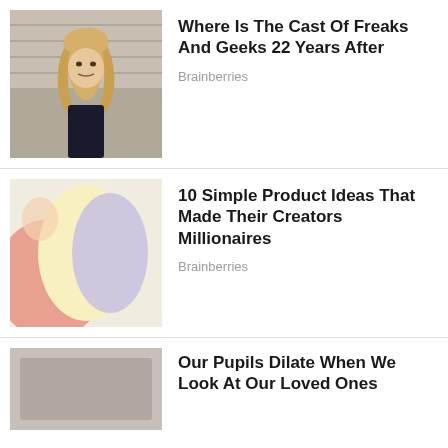[Figure (photo): Young blonde woman looking worried or upset, bleacher seating in background]
Where Is The Cast Of Freaks And Geeks 22 Years After
Brainberries
[Figure (illustration): Abstract colorful illustration with pastel pink, yellow, and light purple shapes]
10 Simple Product Ideas That Made Their Creators Millionaires
Brainberries
[Figure (photo): Thumbnail image partially visible]
Our Pupils Dilate When We Look At Our Loved Ones